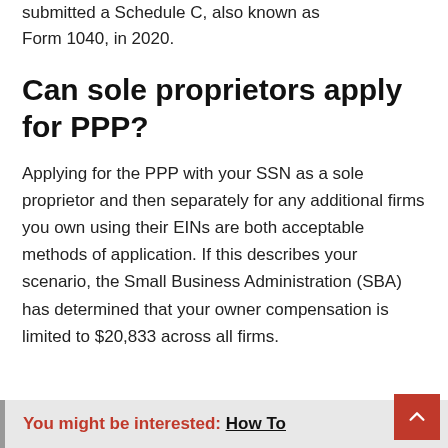submitted a Schedule C, also known as Form 1040, in 2020.
Can sole proprietors apply for PPP?
Applying for the PPP with your SSN as a sole proprietor and then separately for any additional firms you own using their EINs are both acceptable methods of application. If this describes your scenario, the Small Business Administration (SBA) has determined that your owner compensation is limited to $20,833 across all firms.
You might be interested: How To